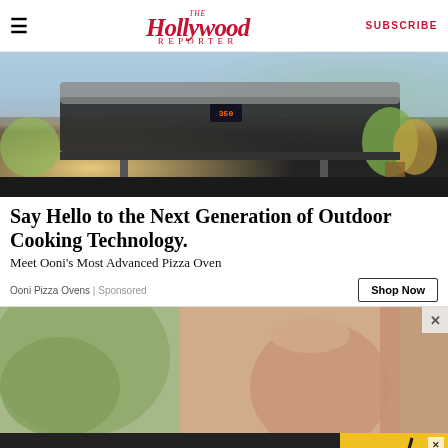The Hollywood Reporter | SUBSCRIBE
[Figure (photo): Outdoor smart pizza oven / grill on a patio with plants in background, temperature display showing 350]
Say Hello to the Next Generation of Outdoor Cooking Technology.
Meet Ooni's Most Advanced Pizza Oven
Ooni Pizza Ovens | Sponsored
[Figure (photo): Close-up of pregnant woman's belly with hands, green plant in background]
[Figure (screenshot): Bottom banner advertisement: MEET AIRWEAVE / MODULAR, WASHABLE MATTRESS / SPY logo on yellow background]